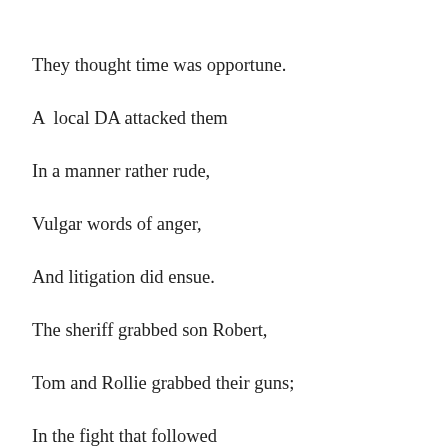Tom and Rollie did the WHILE test
They thought time was opportune.
A  local DA attacked them
In a manner rather rude,
Vulgar words of anger,
And litigation did ensue.
The sheriff grabbed son Robert,
Tom and Rollie grabbed their guns;
In the fight that followed
Tom and Rollie were laid down.